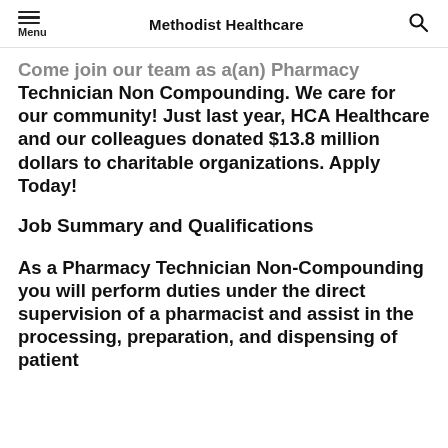Methodist Healthcare
Come join our team as a(an) Pharmacy Technician Non Compounding. We care for our community! Just last year, HCA Healthcare and our colleagues donated $13.8 million dollars to charitable organizations. Apply Today!
Job Summary and Qualifications
As a Pharmacy Technician Non-Compounding you will perform duties under the direct supervision of a pharmacist and assist in the processing, preparation, and dispensing of patient